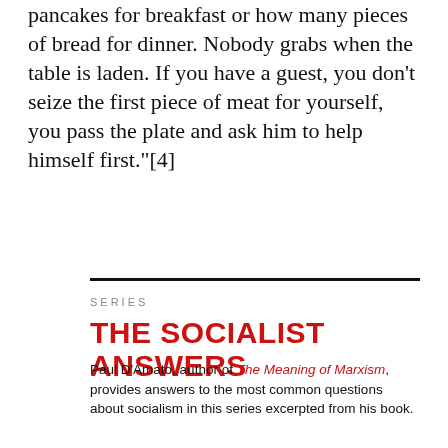pancakes for breakfast or how many pieces of bread for dinner. Nobody grabs when the table is laden. If you have a guest, you don't seize the first piece of meat for yourself, you pass the plate and ask him to help himself first."[4]
SERIES
THE SOCIALIST ANSWERS
Paul D'Amato, author of The Meaning of Marxism, provides answers to the most common questions about socialism in this series excerpted from his book.
Can workers run the world?
Will a socialist society work?
Democracy and revolution
Is a revolution possible in the U.S.?